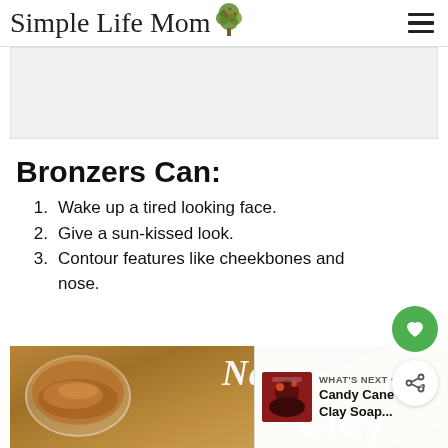Simple Life Mom
[Figure (other): Advertisement placeholder block]
Bronzers Can:
Wake up a tired looking face.
Give a sun-kissed look.
Contour features like cheekbones and nose.
[Figure (photo): Photo of natural clay bronzer powder in a glass jar on a wooden background with text 'Natural Clay']
WHAT'S NEXT → Candy Cane Clay Soap...